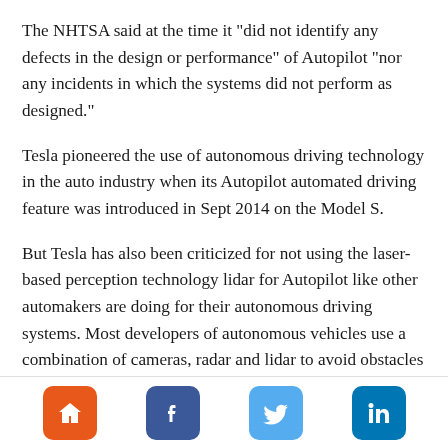The NHTSA said at the time it "did not identify any defects in the design or performance" of Autopilot "nor any incidents in which the systems did not perform as designed."
Tesla pioneered the use of autonomous driving technology in the auto industry when its Autopilot automated driving feature was introduced in Sept 2014 on the Model S.
But Tesla has also been criticized for not using the laser-based perception technology lidar for Autopilot like other automakers are doing for their autonomous driving systems. Most developers of autonomous vehicles use a combination of cameras, radar and lidar to avoid obstacles and safely navigate.
Mu... (partial, clipped at bottom)
Home | Facebook | Twitter | LinkedIn